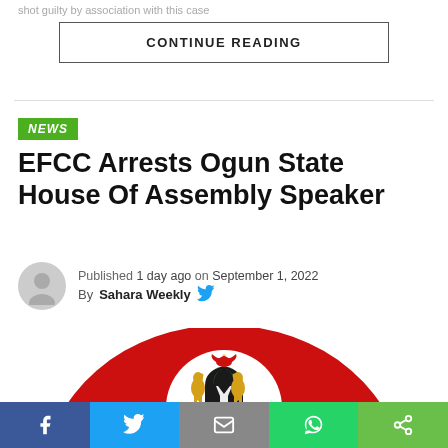shot guilty by association with this case
CONTINUE READING
NEWS
EFCC Arrests Ogun State House Of Assembly Speaker
Published 1 day ago on September 1, 2022
By Sahara Weekly
[Figure (illustration): Nigerian coat of arms / EFCC logo on a red semicircle background]
Facebook Twitter Email WhatsApp Share